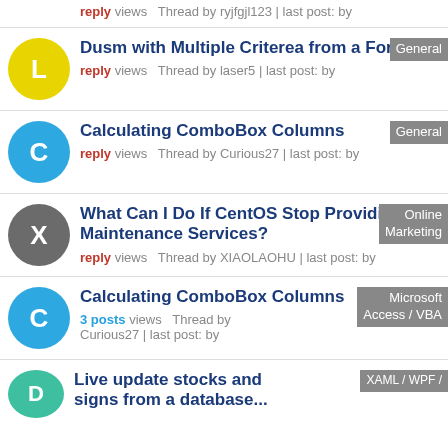database — reply views Thread by ryjfgjl123 | last post: by
Dusm with Multiple Criterea from a Form [General] — reply views Thread by laser5 | last post: by
Calculating ComboBox Columns [General] — reply views Thread by Curious27 | last post: by
What Can I Do If CentOS Stop Providing Maintenance Services? [Online Marketing] — reply views Thread by XIAOLAOHU | last post: by
Calculating ComboBox Columns [Microsoft Access / VBA] — 3 posts views Thread by Curious27 | last post: by
Live update stocks and ... [XAML / WPF /...]